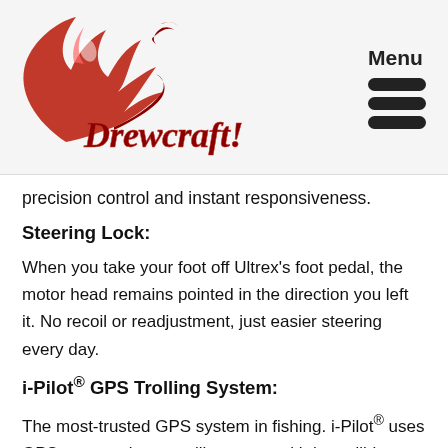[Figure (logo): Drewcraft logo with red flame/swoosh and red script text 'Drewcraft!']
precision control and instant responsiveness.
Steering Lock:
When you take your foot off Ultrex’s foot pedal, the motor head remains pointed in the direction you left it. No recoil or readjustment, just easier steering every day.
i-Pilot® GPS Trolling System:
The most-trusted GPS system in fishing. i-Pilot® uses GPS to control your trolling motor with incredible features that keep you on the fish. Set Spot-Locks, record paths, control speed and steering, and more. i-